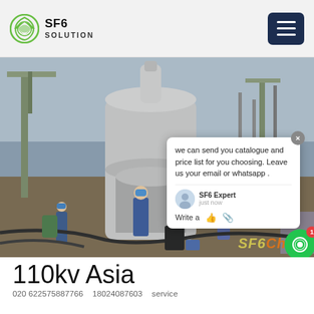SF6 SOLUTION
[Figure (photo): Industrial site with workers in blue coveralls and hard hats working around large electrical transformer/SF6 gas equipment at an outdoor substation. Construction cranes visible in background.]
we can send you catalogue and price list for you choosing. Leave us your email or whatsapp .
SF6 Expert   just now
Write a
110kv Asia
020 622575887766   18024087603   service